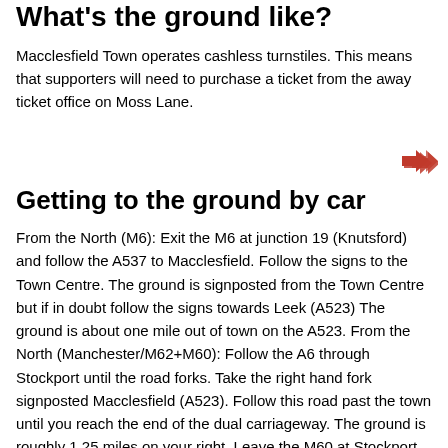What's the ground like?
Macclesfield Town operates cashless turnstiles. This means that supporters will need to purchase a ticket from the away ticket office on Moss Lane.
[Figure (illustration): Red double arrow icon pointing right]
Getting to the ground by car
From the North (M6): Exit the M6 at junction 19 (Knutsford) and follow the A537 to Macclesfield. Follow the signs to the Town Centre. The ground is signposted from the Town Centre but if in doubt follow the signs towards Leek (A523) The ground is about one mile out of town on the A523. From the North (Manchester/M62+M60): Follow the A6 through Stockport until the road forks. Take the right hand fork signposted Macclesfield (A523). Follow this road past the town until you reach the end of the dual carriageway. The ground is roughly 1.25 miles on your right. Leave the M60 at Stockport